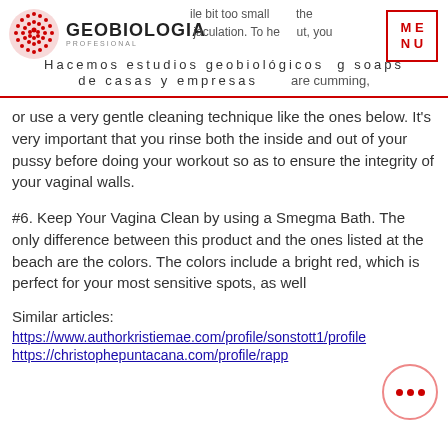GEOBIOLOGIA PROFESIONAL — Hacemos estudios geobiológicos de casas y empresas
or use a very gentle cleaning technique like the ones below. It's very important that you rinse both the inside and out of your pussy before doing your workout so as to ensure the integrity of your vaginal walls.
#6. Keep Your Vagina Clean by using a Smegma Bath. The only difference between this product and the ones listed at the beach are the colors. The colors include a bright red, which is perfect for your most sensitive spots, as well
Similar articles:
https://www.authorkristiemae.com/profile/sonstott1/profile
https://christophepuntacana.com/profile/rapp